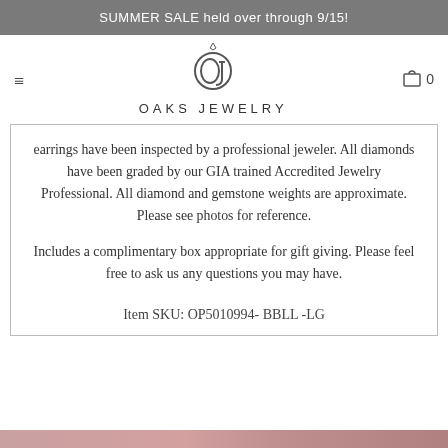SUMMER SALE held over through 9/15!
[Figure (logo): Oaks Jewelry logo: stylized OJ monogram inside a circle with a small diamond on top]
OAKS JEWELRY
earrings have been inspected by a professional jeweler. All diamonds have been graded by our GIA trained Accredited Jewelry Professional. All diamond and gemstone weights are approximate. Please see photos for reference.
Includes a complimentary box appropriate for gift giving. Please feel free to ask us any questions you may have.
Item SKU: OP5010994- BBLL -LG